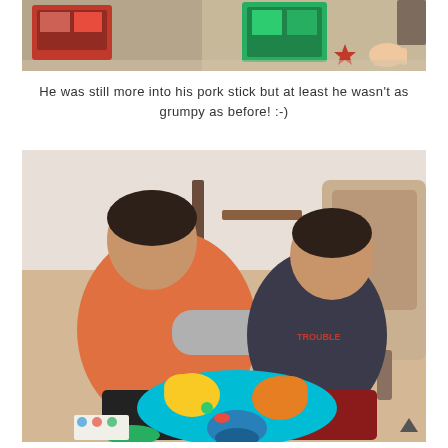[Figure (photo): Photo of toys and gift boxes scattered on a wooden floor, with a child's hand visible in the corner.]
He was still more into his pork stick but at least he wasn't as grumpy as before! :-)
[Figure (photo): Two young children sitting on a wooden floor playing with a colorful hippo board game (Hungry Hungry Hippos). The older child in an orange and grey shirt reaches forward while the younger child in a dark Trouble shirt watches.]